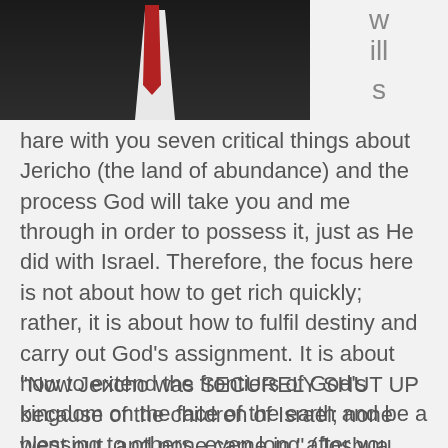[Figure (photo): Man in dark suit with red tie, upper body photo on left side; letters 'w', 'ill', 's' displayed vertically on right side]
hare with you seven critical things about Jericho (the land of abundance) and the process God will take you and me through in order to possess it, just as He did with Israel. Therefore, the focus here is not about how to get rich quickly; rather, it is about how to fulfil destiny and carry out God’s assignment. It is about how to extend the frontiers of God’s kingdom on the face of the earth and be a blessing to others, even long after you have gone.
“Now Jericho was SECURELY SHUT UP because of the children of Israel; none went out, and none came in.” (Joshua 6:1)